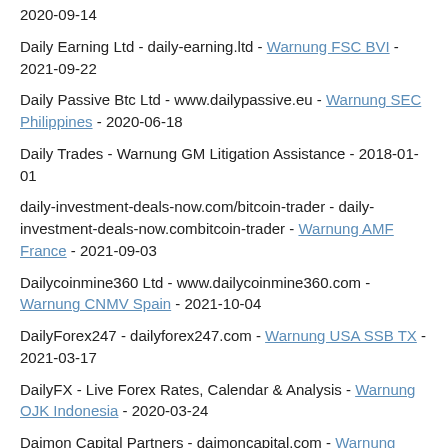2020-09-14
Daily Earning Ltd - daily-earning.ltd - Warnung FSC BVI - 2021-09-22
Daily Passive Btc Ltd - www.dailypassive.eu - Warnung SEC Philippines - 2020-06-18
Daily Trades - Warnung GM Litigation Assistance - 2018-01-01
daily-investment-deals-now.com/bitcoin-trader - daily-investment-deals-now.combitcoin-trader - Warnung AMF France - 2021-09-03
Dailycoinmine360 Ltd - www.dailycoinmine360.com - Warnung CNMV Spain - 2021-10-04
DailyForex247 - dailyforex247.com - Warnung USA SSB TX - 2021-03-17
DailyFX - Live Forex Rates, Calendar & Analysis - Warnung OJK Indonesia - 2020-03-24
Daimon Capital Partners - daimoncapital.com - Warnung FCA UK - 2022-05-04